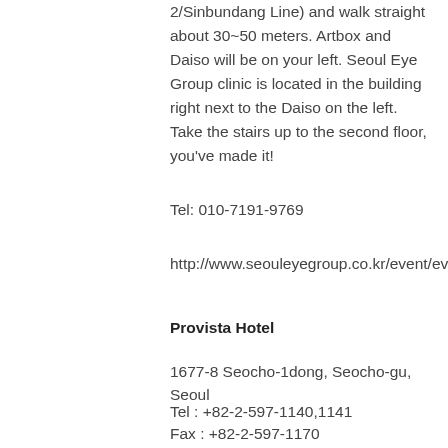2/Sinbundang Line) and walk straight about 30~50 meters. Artbox and Daiso will be on your left. Seoul Eye Group clinic is located in the building right next to the Daiso on the left. Take the stairs up to the second floor, you've made it!
Tel: 010-7191-9769
http://www.seouleyegroup.co.kr/event/event_175.php
Provista Hotel
1677-8 Seocho-1dong, Seocho-gu, Seoul
Tel : +82-2-597-1140,1141
Fax : +82-2-597-1170
Or subway: line 2 or 3 Exit 1 Seoul nat'l univ. of education 3 minute walk to hotel.